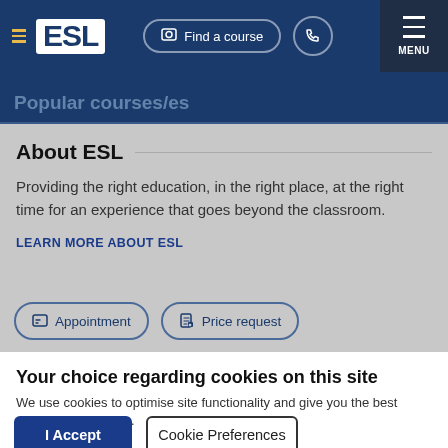ESL — Find a course  MENU
Popular courses/es
About ESL
Providing the right education, in the right place, at the right time for an experience that goes beyond the classroom.
LEARN MORE ABOUT ESL
Appointment   Price request
Your choice regarding cookies on this site
We use cookies to optimise site functionality and give you the best possible experience.
I Accept   Cookie Preferences